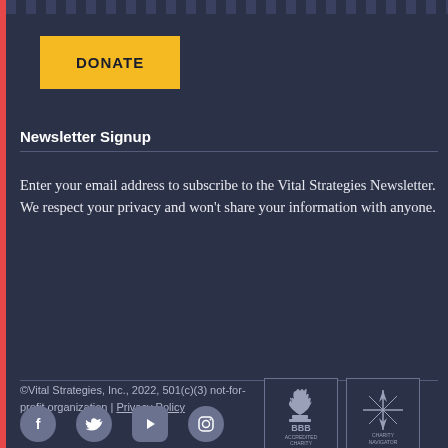[Figure (other): Yellow DONATE button on dark navy background]
Newsletter Signup
Enter your email address to subscribe to the Vital Strategies Newsletter. We respect your privacy and won't share your information with anyone.
[Figure (other): Email address input bar with SUBSCRIBE button on dark navy background]
©Vital Strategies, Inc., 2022, 501(c)(3) not-for-profit organization | Privacy Policy
[Figure (logo): BBB Accredited Charity and Charity Navigator logos]
[Figure (other): Social media icons: Facebook, Twitter, YouTube, Instagram]